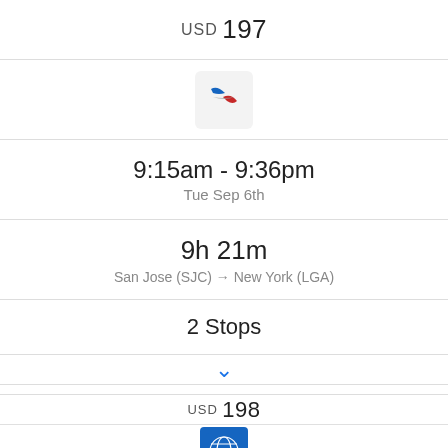USD 197
[Figure (logo): American Airlines logo icon]
9:15am - 9:36pm
Tue Sep 6th
9h 21m
San Jose (SJC) → New York (LGA)
2 Stops
▾
USD 198
[Figure (logo): United Airlines globe logo icon]